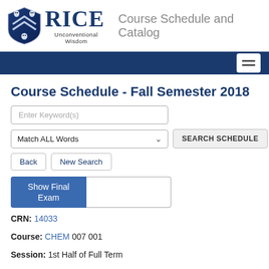[Figure (logo): Rice University shield logo with owl motif and 'Unconventional Wisdom' tagline, followed by RICE wordmark in dark blue serif font]
Course Schedule and Catalog
[Figure (screenshot): Dark navy navigation bar with hamburger menu icon on the right]
Course Schedule - Fall Semester 2018
Enter Keyword(s)
Match ALL Words
SEARCH SCHEDULE
Back
New Search
Show Final Exam
CRN: 14033
Course: CHEM 007 001
Session: 1st Half of Full Term